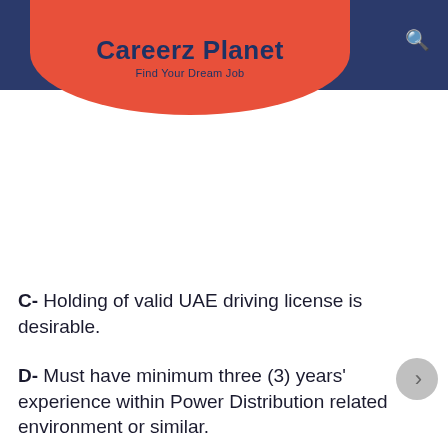Careerz Planet – Find Your Dream Job
C- Holding of valid UAE driving license is desirable.
D- Must have minimum three (3) years' experience within Power Distribution related environment or similar.